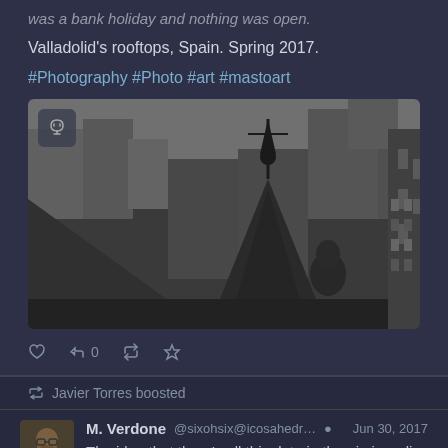was a bank holiday and nothing was open.
Valladolid's rooftops, Spain. Spring 2017.
#Photography #Photo #art #mastoart
[Figure (photo): Black and white photograph of Valladolid rooftops, Spain, showing ornate architectural spires and city buildings in the background.]
0 (reply, retweet, star action icons)
Javier Torres boosted
M. Verdone @sixohsix@icosahedr... Jun 30, 2017
The idea that there's all this data in the air, in radio waves, going over our heads, through our bodies,